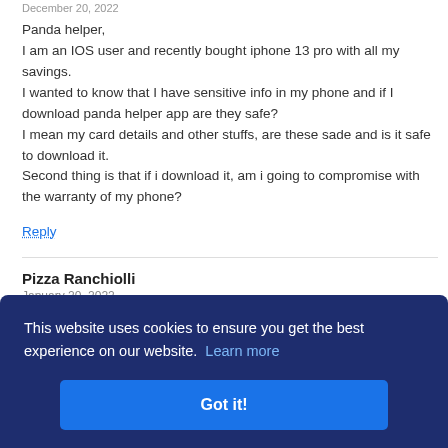December 20, 2022
Panda helper,
I am an IOS user and recently bought iphone 13 pro with all my savings.
I wanted to know that I have sensitive info in my phone and if I download panda helper app are they safe?
I mean my card details and other stuffs, are these sade and is it safe to download it.
Second thing is that if i download it, am i going to compromise with the warranty of my phone?
Reply
Pizza Ranchiolli
January 20, 2022
Please update GTA Vice City for iOS 15.2.1! Alrighty
This website uses cookies to ensure you get the best experience on our website. Learn more
Got it!